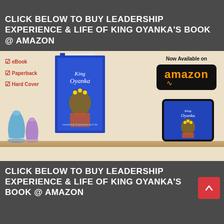CLICK BELOW TO BUY LEADERSHIP EXPERIENCE & LIFE OF KING OYANKA'S BOOK @ AMAZON
[Figure (illustration): Book advertisement image showing a physical book and tablet displaying 'King Oyanka' book cover, with eBook, Paperback, Hard Cover checkboxes and Amazon logo button with 'Now Available on' text, set against a warm beige background with shelf.]
CLICK BELOW TO BUY LEADERSHIP EXPERIENCE & LIFE OF KING OYANKA'S BOOK @ AMAZON